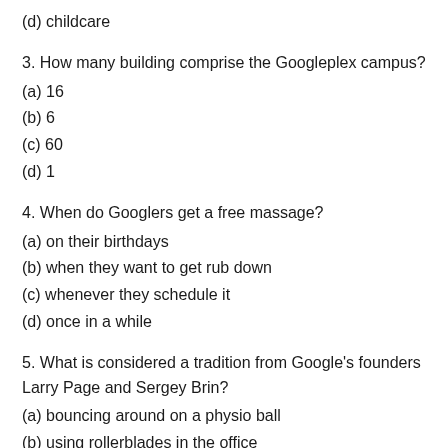(d) childcare
3. How many building comprise the Googleplex campus?
(a) 16
(b) 6
(c) 60
(d) 1
4. When do Googlers get a free massage?
(a) on their birthdays
(b) when they want to get rub down
(c) whenever they schedule it
(d) once in a while
5. What is considered a tradition from Google's founders Larry Page and Sergey Brin?
(a) bouncing around on a physio ball
(b) using rollerblades in the office